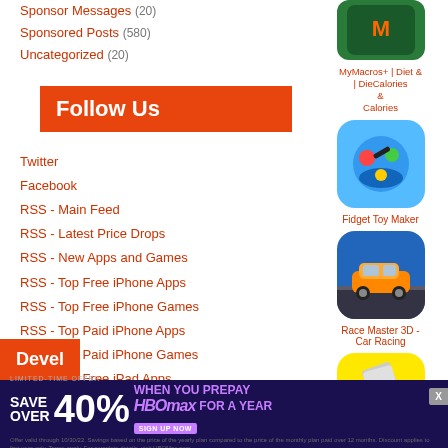Sponsor Messages (20)
Sponsored Posts (580)
Uncategorized (20)
Follow Us
Twitter
Facebook
RSS - Main Feed
RSS - Latest Price Drops
RSS - New Apps and Games
RSS - Top Free iPhone Apps
RSS - Top Free iPhone Games
RSS - Top Paid iPhone Apps
RSS - Top Paid iPhone Games
RSS - Top Free iPad Apps
RSS - Top Free iPad Games
RSS - Top Paid iPad Apps
RSS - Top Paid iPad Games
[Figure (screenshot): App icon for MyMacros+ Diet & Calories app]
MyMacros+ | Diet & Calories
[Figure (screenshot): App icon for Fidget Toy Maker]
Fidget Toy Maker
[Figure (screenshot): App icon for Race Master 3D - Car Racing]
Race Master 3D - Car Racing
[Figure (screenshot): App icon for Belt It]
Belt It
Devel
LIMITED-TIME OFFER SAVE OVER 40% WHEN YOU PREPAY HBOMAX FOR A YEAR